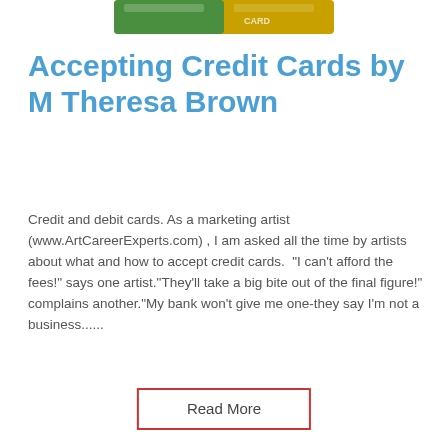[Figure (photo): Partial image of credit cards at the top of the page, showing colorful card edges]
Accepting Credit Cards by M Theresa Brown
Credit and debit cards. As a marketing artist (www.ArtCareerExperts.com) , I am asked all the time by artists about what and how to accept credit cards.  "I can't afford the fees!" says one artist."They'll take a big bite out of the final figure!" complains another."My bank won't give me one-they say I'm not a business......
Read More